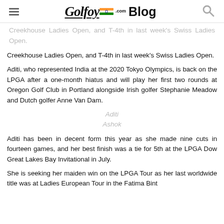Golfoy.com Blog
Creekhouse Ladies Open, and T-4th in last week's Swiss Ladies Open.
Aditi, who represented India at the 2020 Tokyo Olympics, is back on the LPGA after a one-month hiatus and will play her first two rounds at Oregon Golf Club in Portland alongside Irish golfer Stephanie Meadow and Dutch golfer Anne Van Dam.
Aditi Ashok
Aditi has been in decent form this year as she made nine cuts in fourteen games, and her best finish was a tie for 5th at the LPGA Dow Great Lakes Bay Invitational in July.
She is seeking her maiden win on the LPGA Tour as her last worldwide title was at Ladies European Tour in the Fatima Bint